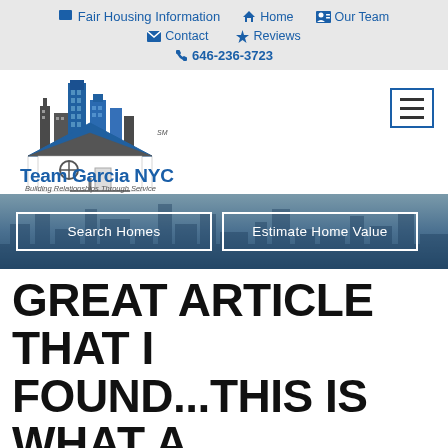Fair Housing Information  Home  Our Team  Contact  Reviews  646-236-3723
[Figure (logo): Team Garcia NYC logo with NYC skyline illustration above text reading 'Team Garcia NYC' and 'Building Relationships Through Service']
[Figure (screenshot): Hero banner image of NYC cityscape/waterfront with two buttons overlaid: 'Search Homes' and 'Estimate Home Value']
GREAT ARTICLE THAT I FOUND...THIS IS WHAT A PROFESSIONAL REALTOR DOES